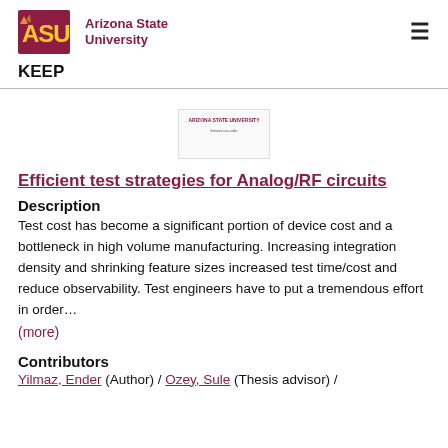ASU Arizona State University  KEEP
[Figure (screenshot): Small thumbnail image of a document with Arizona State University header text]
Efficient test strategies for Analog/RF circuits
Description
Test cost has become a significant portion of device cost and a bottleneck in high volume manufacturing. Increasing integration density and shrinking feature sizes increased test time/cost and reduce observability. Test engineers have to put a tremendous effort in order…
(more)
Contributors
Yilmaz, Ender (Author)  /  Ozey, Sule (Thesis advisor)  /